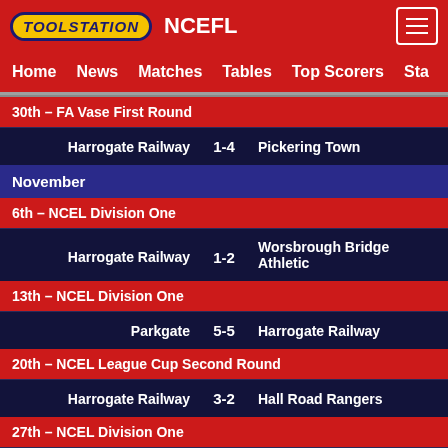TOOLSTATION NCEFL
Home  News  Matches  Tables  Top Scorers  Sta
30th - FA Vase First Round
| Home | Score | Away |
| --- | --- | --- |
| Harrogate Railway | 1-4 | Pickering Town |
November
6th - NCEL Division One
| Home | Score | Away |
| --- | --- | --- |
| Harrogate Railway | 1-2 | Worsbrough Bridge Athletic |
13th - NCEL Division One
| Home | Score | Away |
| --- | --- | --- |
| Parkgate | 5-5 | Harrogate Railway |
20th - NCEL League Cup Second Round
| Home | Score | Away |
| --- | --- | --- |
| Harrogate Railway | 3-2 | Hall Road Rangers |
27th - NCEL Division One